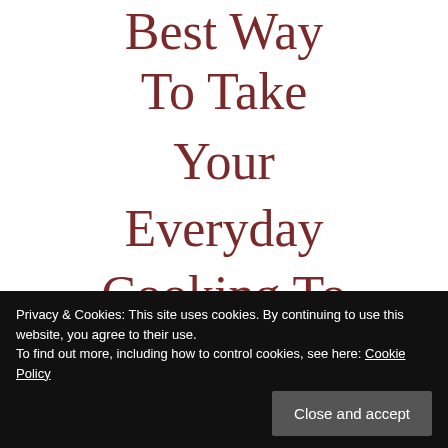Best Way To Take Your Everyday Cooking To A Higher
Privacy & Cookies: This site uses cookies. By continuing to use this website, you agree to their use.
To find out more, including how to control cookies, see here: Cookie Policy
Close and accept